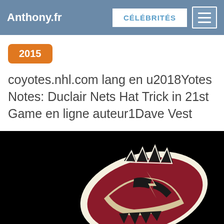Anthony.fr | CÉLÉBRITÉS
2015
coyotes.nhl.com lang en u2018Yotes Notes: Duclair Nets Hat Trick in 21st Game en ligne auteur1Dave Vest
[Figure (photo): Arizona Coyotes NHL team logo on black background showing a stylized coyote howling in dark red, black and cream colors]